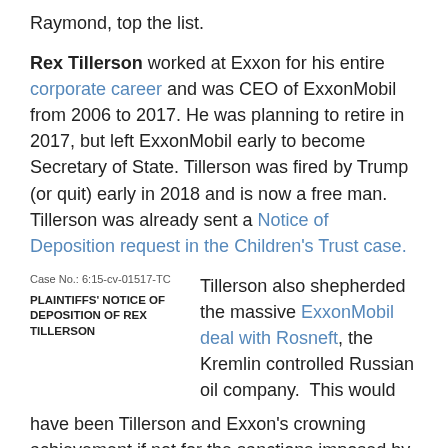Raymond, top the list.
Rex Tillerson worked at Exxon for his entire corporate career and was CEO of ExxonMobil from 2006 to 2017. He was planning to retire in 2017, but left ExxonMobil early to become Secretary of State. Tillerson was fired by Trump (or quit) early in 2018 and is now a free man. Tillerson was already sent a Notice of Deposition request in the Children's Trust case.
Case No.: 6:15-cv-01517-TC
PLAINTIFFS' NOTICE OF DEPOSITION OF REX TILLERSON
Tillerson also shepherded the massive ExxonMobil deal with Rosneft, the Kremlin controlled Russian oil company. This would have been Tillerson and Exxon's crowning achievement if not for the sanctions imposed by the Obama Administration after Russia invaded Crimea. These same sanctions are the ones Russian operatives appear to have been trying to get removed during interventions with representatives of the Trump